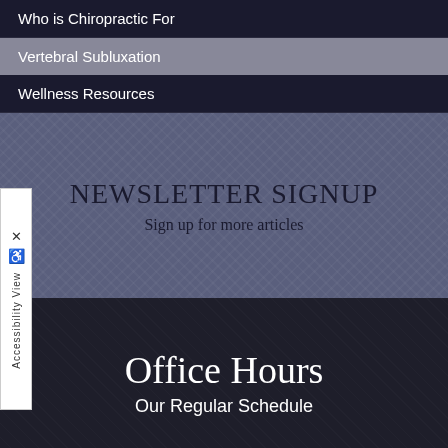Who is Chiropractic For
Vertebral Subluxation
Wellness Resources
NEWSLETTER SIGNUP
Sign up for more articles
Office Hours
Our Regular Schedule
| DAY | MORNING | AFTERNOON |
| --- | --- | --- |
| MONDAY: | 7:30am - 12:00pm | 2:00pm - 6:00pm |